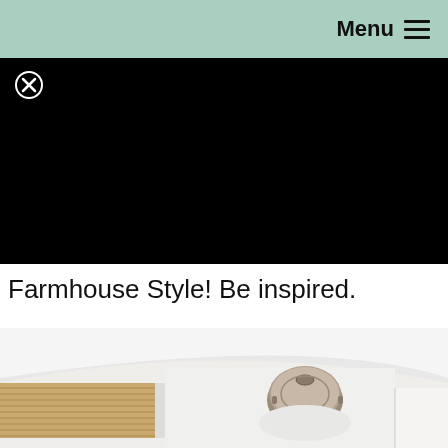Menu ≡
[Figure (screenshot): Black video player area with a circled X close button in the top-left corner]
Farmhouse Style!  Be inspired.
[Figure (photo): Farmhouse style interior photo showing a bamboo/woven roman shade on the left, a round metallic tray in the center, and white surfaces below]